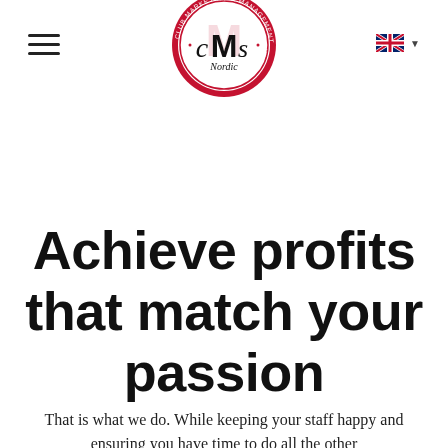[Figure (logo): CMS Nordic circular logo with red border, showing 'cMs' lettering and text 'CLUB MARKETING & MANAGEMENT SERVICES' and 'WORLDWIDE CLUB NETWORK' around the ring]
Achieve profits that match your passion
That is what we do. While keeping your staff happy and ensuring you have time to do all the other